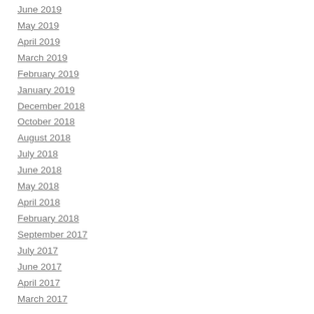June 2019
May 2019
April 2019
March 2019
February 2019
January 2019
December 2018
October 2018
August 2018
July 2018
June 2018
May 2018
April 2018
February 2018
September 2017
July 2017
June 2017
April 2017
March 2017